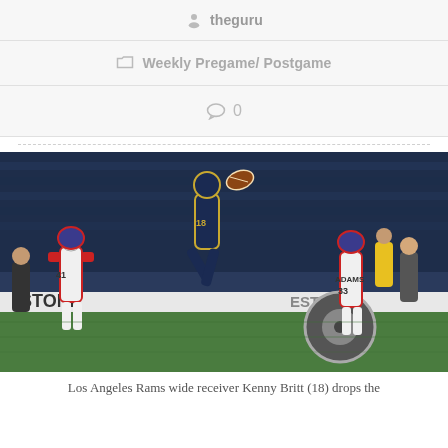theguru
Weekly Pregame/ Postgame
0
[Figure (photo): NFL football action photo: Los Angeles Rams wide receiver Kenny Britt (18) making an acrobatic catch attempt, leaping high in the air, while New York Giants defenders #41 and #33 Adams chase. Stadium crowd visible in background.]
Los Angeles Rams wide receiver Kenny Britt (18) drops the